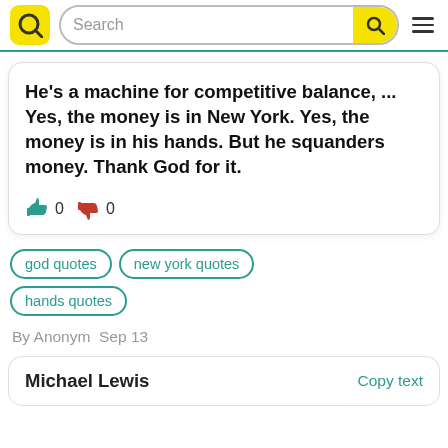Search
He's a machine for competitive balance, ... Yes, the money is in New York. Yes, the money is in his hands. But he squanders money. Thank God for it.
god quotes
new york quotes
hands quotes
By Anonym  Sep 13
Michael Lewis